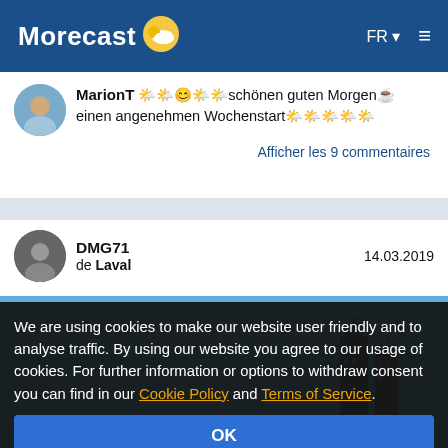Morecast  FR  ≡
MarionT 🌤️😊🌤️🌤️schönen guten Morgen☕ einen angenehmen Wochenstart🌤️🌤️🌤️🌤️🌤️
Afficher les 9 commentaires
DMG71
de Laval
14.03.2019
[Figure (photo): Blue sky city skyline photo showing tall buildings/towers against a clear blue sky]
We are using cookies to make our website user friendly and to analyse traffic. By using our website you agree to our usage of cookies. For further information or options to withdraw consent you can find in our Cookie Policy and Terms of Service.
OK
More information